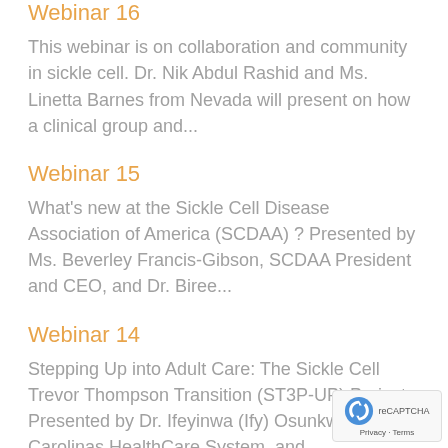Webinar 16
This webinar is on collaboration and community in sickle cell. Dr. Nik Abdul Rashid and Ms. Linetta Barnes from Nevada will present on how a clinical group and...
Webinar 15
What's new at the Sickle Cell Disease Association of America (SCDAA) ? Presented by Ms. Beverley Francis-Gibson, SCDAA President and CEO, and Dr. Biree...
Webinar 14
Stepping Up into Adult Care: The Sickle Cell Trevor Thompson Transition (ST3P-UP) Project. Presented by Dr. Ifeyinwa (Ify) Osunkwo, Carolinas HealthCare System, and...